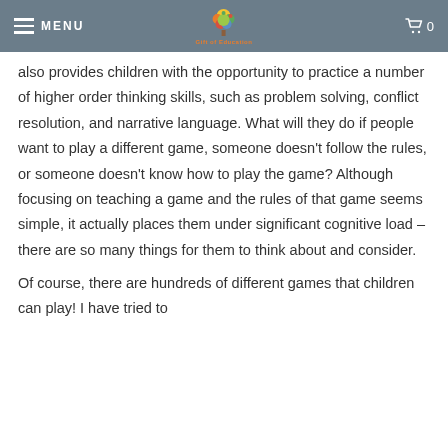MENU | [logo: Gift of Education] | 0
also provides children with the opportunity to practice a number of higher order thinking skills, such as problem solving, conflict resolution, and narrative language. What will they do if people want to play a different game, someone doesn't follow the rules, or someone doesn't know how to play the game? Although focusing on teaching a game and the rules of that game seems simple, it actually places them under significant cognitive load – there are so many things for them to think about and consider.

Of course, there are hundreds of different games that children can play! I have tried to